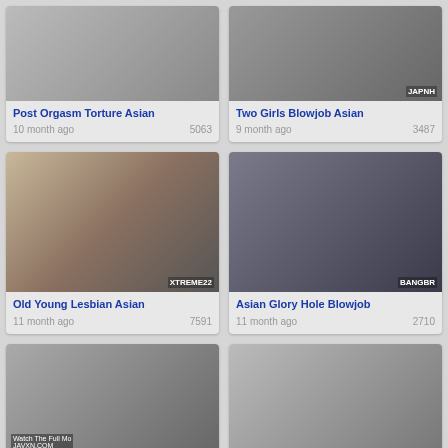[Figure (photo): Video thumbnail - Post Orgasm Torture Asian]
Post Orgasm Torture Asian
10 month ago   5063
[Figure (photo): Video thumbnail - Two Girls Blowjob Asian, JAPNH watermark]
Two Girls Blowjob Asian
9 month ago   3487
[Figure (photo): Video thumbnail - Old Young Lesbian Asian, XTREME22 watermark]
Old Young Lesbian Asian
11 month ago   7591
[Figure (photo): Video thumbnail - Asian Glory Hole Blowjob, BANGBR watermark]
Asian Glory Hole Blowjob
11 month ago   2710
[Figure (photo): Video thumbnail bottom left, JAVXN.COM watermark]
[Figure (photo): Video thumbnail bottom right]